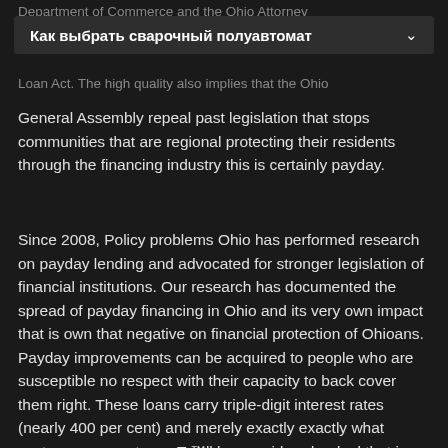Department of Commerce and the Ohio Attorney General
Loan Act. The high quality also implies that the Ohio
General Assembly repeal past legislation that stops communities that are regional protecting their residents through the financing industry this is certainly payday.
Since 2008, Policy problems Ohio has performed research on payday lending and advocated for stronger legislation of financial institutions. Our research has documented the spread of payday financing in Ohio and its very own impact that is own that negative on financial protection of Ohioans. Payday improvements can be acquired to people who are susceptible no respect with their capacity to back cover them right. These loans carry triple-digit interest rates (nearly 400 per cent) and merely exactly exactly what customers expect youвЂ™ll be considered a deal that is one-time typically renewed times that are many making individuals spiraling further and further into economic responsibility.